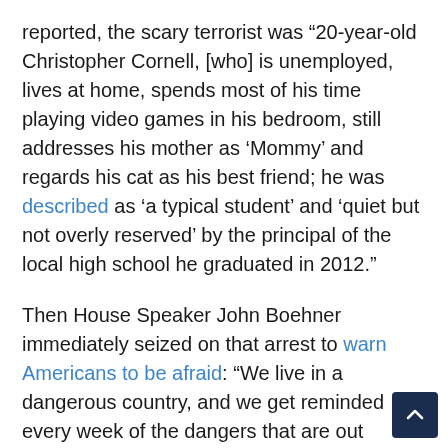reported, the scary terrorist was “20-year-old Christopher Cornell, [who] is unemployed, lives at home, spends most of his time playing video games in his bedroom, still addresses his mother as ‘Mommy’ and regards his cat as his best friend; he was described as ‘a typical student’ and ‘quiet but not overly reserved’ by the principal of the local high school he graduated in 2012.”
Then House Speaker John Boehner immediately seized on that arrest to warn Americans to be afraid: “We live in a dangerous country, and we get reminded every week of the dangers that are out there.” Boehner also told Americans they should be grateful for domestic surveillance and not try to curb it: the Speaker claimed that “the National Security Agency’s snooping powers helped stop a plot to attack the Capitol and that his colleagues need to keep that in mind as they debate whether to renew